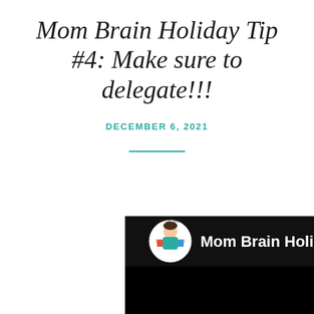Mom Brain Holiday Tip #4: Make sure to delegate!!!
DECEMBER 6, 2021
[Figure (screenshot): Video thumbnail showing 'Mom Brain Holiday Tip #4: Del...' with Dr. CBT Mom logo (circular avatar with illustrated woman) on black background, and right side showing a colorful holiday/winter illustration with blue clouds and decorative elements on a dark red background.]